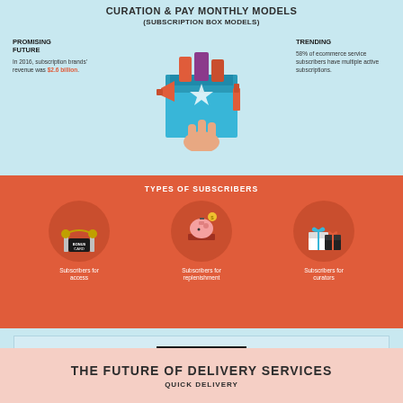CURATION & PAY MONTHLY MODELS
(SUBSCRIPTION BOX MODELS)
PROMISING FUTURE
In 2016, subscription brands' revenue was $2.6 billion.
[Figure (illustration): Subscription box illustration with products like lipstick, bottles, and star packaging being picked by a hand]
TRENDING
58% of ecommerce service subscribers have multiple active subscriptions.
TYPES OF SUBSCRIBERS
[Figure (infographic): Three circular icons on red background representing types of subscribers: access (bonus card), replenishment (piggy bank in box), curators (gift boxes)]
Subscribers for access
Subscribers for replenishment
Subscribers for curators
CASE STUDIES
Muse Monthly achieved a 897% increase in gross revenue through Cratejoy's Marketplace.
[Figure (illustration): Muse Monthly brand icons including books, phone, and cup]
[Figure (illustration): Ignite brand logo with decorative elements]
The subscription box result for Ignite was 68% reduction in cost per sale and 52% growth in revenue.
THE FUTURE OF DELIVERY SERVICES
QUICK DELIVERY